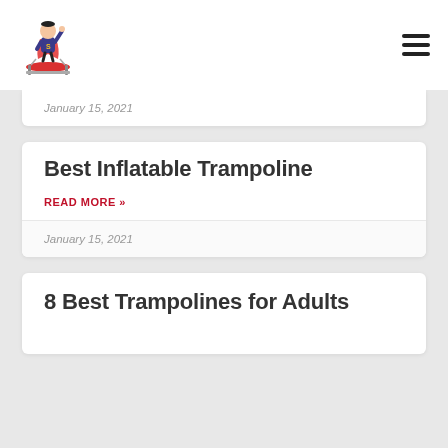Trampoline site logo and navigation menu
January 15, 2021
Best Inflatable Trampoline
READ MORE »
January 15, 2021
8 Best Trampolines for Adults